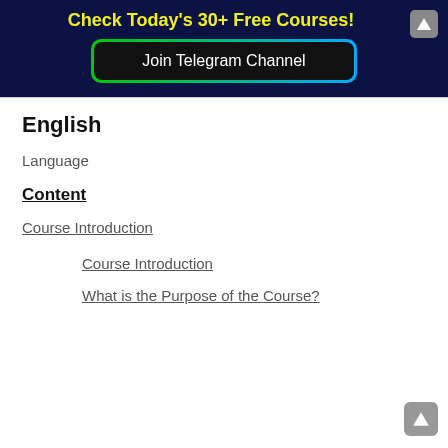Check Today's 30+ Free Courses!
Join Telegram Channel
English
Language
Content
Course Introduction
Course Introduction
What is the Purpose of the Course?